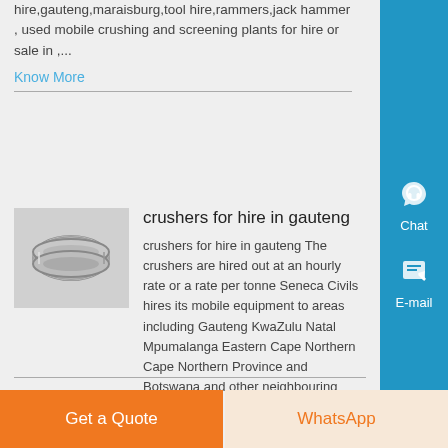hire,gauteng,maraisburg,tool hire,rammers,jack hammer , used mobile crushing and screening plants for hire or sale in ,...
Know More
crushers for hire in gauteng
crushers for hire in gauteng The crushers are hired out at an hourly rate or a rate per tonne Seneca Civils hires its mobile equipment to areas including Gauteng KwaZulu Natal Mpumalanga Eastern Cape Northern Cape Northern Province and Botswana and other neighbouring countri...
Know More
Get a Quote
WhatsApp